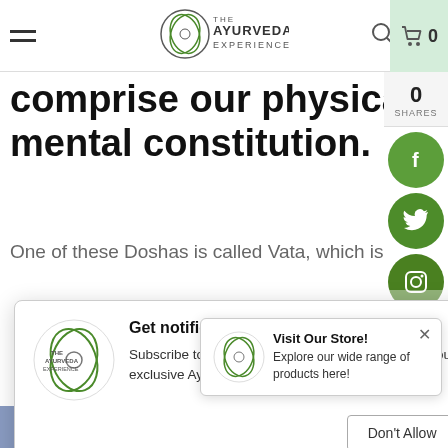The Ayurveda Experience — navigation bar with hamburger menu, logo, search icon, cart (0)
comprise our physical and mental constitution.
One of these Doshas is called Vata, which is
[Figure (screenshot): Notification permission popup: 'Get notified FIRST! [For Free!]' — Subscribe to get notified for new product launches, our best offers and exclusive Ayurvedic tips and tricks! Buttons: Don't Allow | Allow]
I love sitting in Vajrasana (the only Yoga asana that can be practiced after eating) once I finish my food, while visualizing what I've eaten converting
[Figure (screenshot): Store popup: 'Visit Our Store! Explore our wide range of products here!' with Ayurveda Experience logo and close button]
Social share bar: Facebook, Twitter